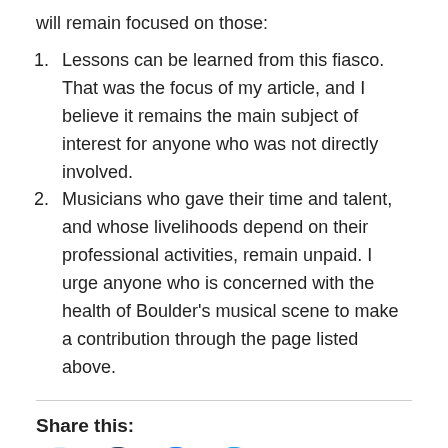will remain focused on those:
Lessons can be learned from this fiasco. That was the focus of my article, and I believe it remains the main subject of interest for anyone who was not directly involved.
Musicians who gave their time and talent, and whose livelihoods depend on their professional activities, remain unpaid. I urge anyone who is concerned with the health of Boulder’s musical scene to make a contribution through the page listed above.
Share this:
[Figure (other): Social sharing icons: Reddit, Tumblr, Facebook, Twitter]